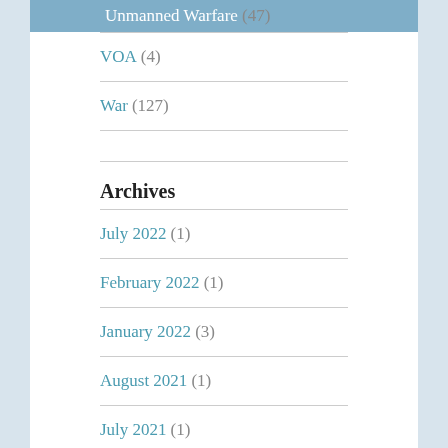Unmanned Warfare (47)
VOA (4)
War (127)
Archives
July 2022 (1)
February 2022 (1)
January 2022 (3)
August 2021 (1)
July 2021 (1)